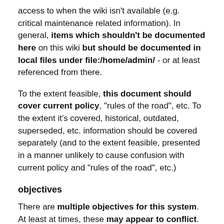access to when the wiki isn't available (e.g. critical maintenance related information). In general, items which shouldn't be documented here on this wiki but should be documented in local files under file:/home/admin/ - or at least referenced from there.
To the extent feasible, this document should cover current policy, "rules of the road", etc. To the extent it's covered, historical, outdated, superseded, etc. information should be covered separately (and to the extent feasible, presented in a manner unlikely to cause confusion with current policy and "rules of the road", etc.)
objectives
There are multiple objectives for this system. At least at times, these may appear to conflict. This list is intended to identify key objectives, and in the case of conflict or potential conflicts, their priority (or at least approximate priority), with highest priority (most important) first. Also, first bit of "policy" update ... but may be more